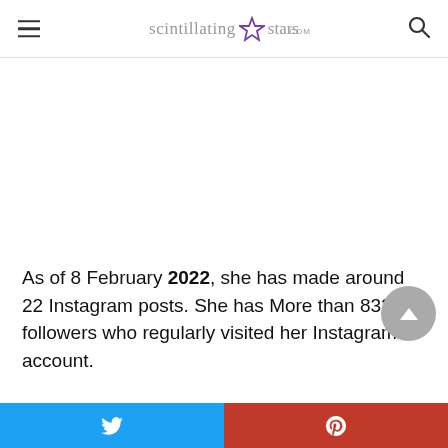scintillatingstars.com
As of 8 February 2022, she has made around 22 Instagram posts. She has More than 832k followers who regularly visited her Instagram account.